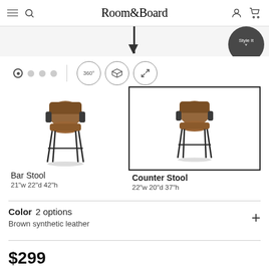Room&Board
[Figure (screenshot): Partial product image at top of page, partially cropped]
[Figure (other): Navigation controls: 4 dot image selectors, divider, 360 degree view button, 3D view button, expand button]
[Figure (other): Bar Stool product image - brown leather stool with metal legs, 21w 22d 42h]
[Figure (other): Counter Stool product image (selected) - brown leather stool with metal legs, 22w 20d 37h]
Bar Stool
21"w 22"d 42"h
Counter Stool
22"w 20"d 37"h
Color  2 options
Brown synthetic leather
$299